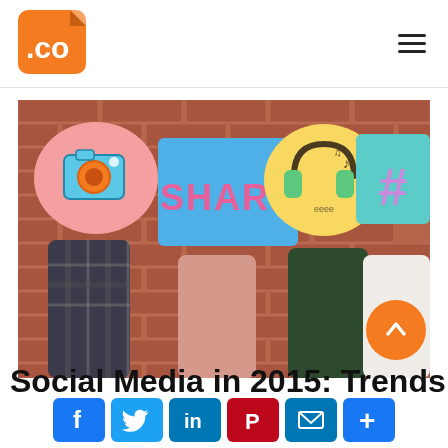.CO logo and hamburger menu
[Figure (photo): Four people standing against a brick wall, each holding up illustrated speech bubbles and signs with social media icons: a camera (pink bubble), SHARE (blue sign), headphones with music notes (yellow bubble), and a hashtag # (teal sign). Their faces are hidden behind the signs.]
Social Media in 2015: Trends & Net…
[Figure (infographic): Row of social media sharing buttons: Facebook, Twitter, LinkedIn, Pinterest, Email, and a plus/more button]